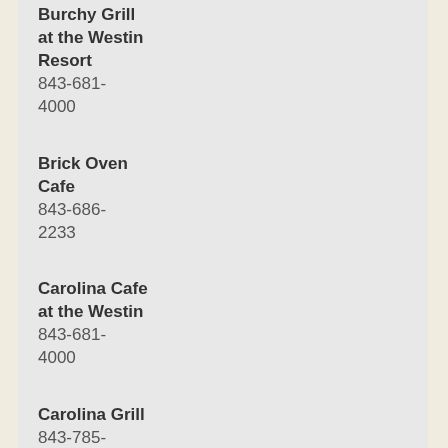Burchy Grill at the Westin Resort
843-681-4000
Brick Oven Cafe
843-686-2233
Carolina Cafe at the Westin
843-681-4000
Carolina Grill
843-785-3000